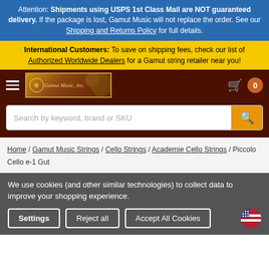Attention: Shipments using USPS 1st Class Mail are NOT guaranteed delivery. If the package is lost, Gamut Music will not replace the order. See our Shipping and Returns Policy for full details.
International Customers: To save on shipping fees, check our list of Authorized Worldwide Dealers for a Gamut string retailer near you!
[Figure (logo): Gamut Music Inc. logo with decorative banner on dark brown background]
Search by keyword, brand or SKU
Home / Gamut Music Strings / Cello Strings / Academie Cello Strings / Piccolo Cello e-1 Gut
We use cookies (and other similar technologies) to collect data to improve your shopping experience.